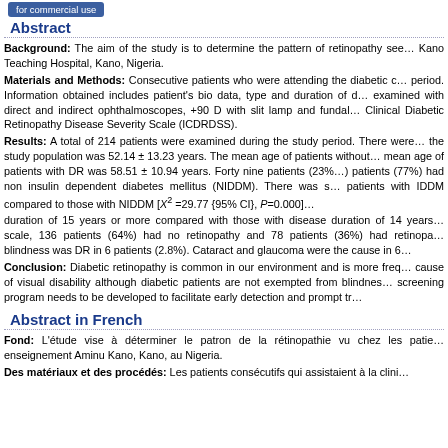for commercial use
Abstract
Background: The aim of the study is to determine the pattern of retinopathy seen at Kano Teaching Hospital, Kano, Nigeria. Materials and Methods: Consecutive patients who were attending the diabetic clinic during the period. Information obtained includes patient's bio data, type and duration of diabetes. Eyes were examined with direct and indirect ophthalmoscopes, +90 D with slit lamp and fundal photography. Clinical Diabetic Retinopathy Disease Severity Scale (ICDRDSS). Results: A total of 214 patients were examined during the study period. There were. The mean age of the study population was 52.14 ± 13.23 years. The mean age of patients without was. The mean age of patients with DR was 58.51 ± 10.94 years. Forty nine patients (23%) had and 165 patients (77%) had non insulin dependent diabetes mellitus (NIDDM). There was significant retinopathy in patients with IDDM compared to those with NIDDM [X²=29.77 {95% CI}, P=0.000]. duration of 15 years or more compared with those with disease duration of 14 years. scale, 136 patients (64%) had no retinopathy and 78 patients (36%) had retinopathy. blindness was DR in 6 patients (2.8%). Cataract and glaucoma were the cause in 6. Conclusion: Diabetic retinopathy is common in our environment and is more frequently a cause of visual disability although diabetic patients are not exempted from blindness. A screening program needs to be developed to facilitate early detection and prompt treatment.
Abstract in French
Fond: L'étude vise à déterminer le patron de la rétinopathie vu chez les patients à enseignement Aminu Kano, Kano, au Nigeria. Des matériaux et des procédés: Les patients consécutifs qui assistaient à la clinique